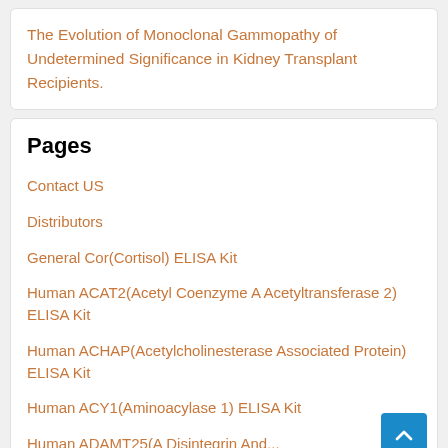The Evolution of Monoclonal Gammopathy of Undetermined Significance in Kidney Transplant Recipients.
Pages
Contact US
Distributors
General Cor(Cortisol) ELISA Kit
Human ACAT2(Acetyl Coenzyme A Acetyltransferase 2) ELISA Kit
Human ACHAP(Acetylcholinesterase Associated Protein) ELISA Kit
Human ACY1(Aminoacylase 1) ELISA Kit
Human ADAMT25(A Disintegrin And...